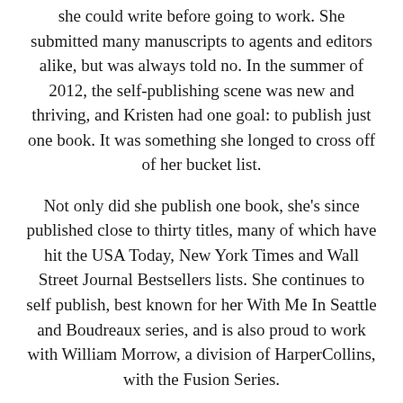she could write before going to work. She submitted many manuscripts to agents and editors alike, but was always told no. In the summer of 2012, the self-publishing scene was new and thriving, and Kristen had one goal: to publish just one book. It was something she longed to cross off of her bucket list.
Not only did she publish one book, she's since published close to thirty titles, many of which have hit the USA Today, New York Times and Wall Street Journal Bestsellers lists. She continues to self publish, best known for her With Me In Seattle and Boudreaux series, and is also proud to work with William Morrow, a division of HarperCollins, with the Fusion Series.
Kristen and her husband, John, make their home in her hometown of Whitefish, Montana with their two pugs and